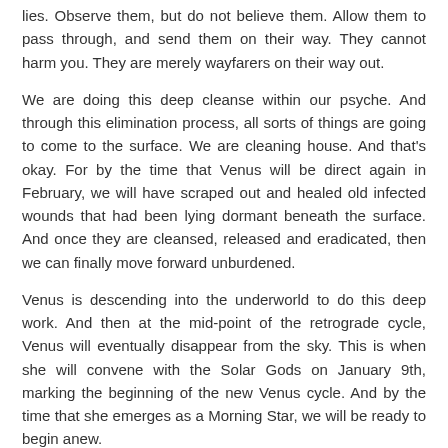lies. Observe them, but do not believe them. Allow them to pass through, and send them on their way. They cannot harm you. They are merely wayfarers on their way out.
We are doing this deep cleanse within our psyche. And through this elimination process, all sorts of things are going to come to the surface. We are cleaning house. And that's okay. For by the time that Venus will be direct again in February, we will have scraped out and healed old infected wounds that had been lying dormant beneath the surface. And once they are cleansed, released and eradicated, then we can finally move forward unburdened.
Venus is descending into the underworld to do this deep work. And then at the mid-point of the retrograde cycle, Venus will eventually disappear from the sky. This is when she will convene with the Solar Gods on January 9th, marking the beginning of the new Venus cycle. And by the time that she emerges as a Morning Star, we will be ready to begin anew.
Traditionally there are some things to avoid with the Venus retrograde cycle which lasts from December 19th thru January 29th: